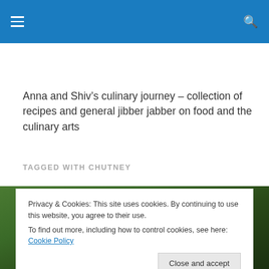Navigation menu and search
Anna and Shiv’s culinary journey – collection of recipes and general jibber jabber on food and the culinary arts
TAGGED WITH CHUTNEY
[Figure (photo): Partial view of vegetables/food photo in dark green tones]
Privacy & Cookies: This site uses cookies. By continuing to use this website, you agree to their use.
To find out more, including how to control cookies, see here: Cookie Policy